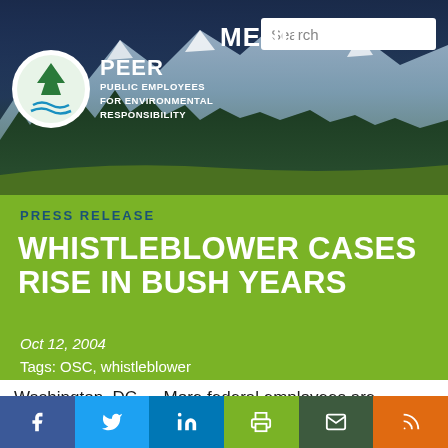[Figure (photo): PEER website header with mountain landscape background showing dark evergreen forest and snow-capped mountains. Includes PEER logo (circle with pine tree and waves), organization name, MENU navigation text, and search bar.]
PRESS RELEASE
WHISTLEBLOWER CASES RISE IN BUSH YEARS
Oct 12, 2004
Tags: OSC, whistleblower
Washington, DC — More federal employees are reporting waste fraud and abuse under recent administrations, but fewer of these reports are being investigated, according to
[Figure (infographic): Social media sharing bar with six buttons: Facebook (blue), Twitter (light blue), LinkedIn (dark blue), Print (green), Email (dark green), RSS (orange)]